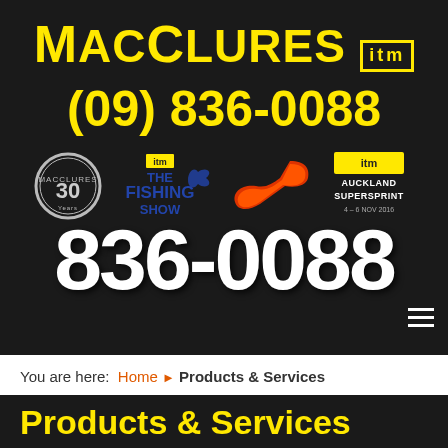[Figure (logo): MacCLURES ITM logo with yellow text on dark background, phone number (09) 836-0088, logos for 30 years, The ITM Fishing Show, Supercars S logo, Auckland SuperSprint 4-6 Nov 2016, and large white phone number 836-0088]
You are here: Home ▶ Products & Services
Products & Services